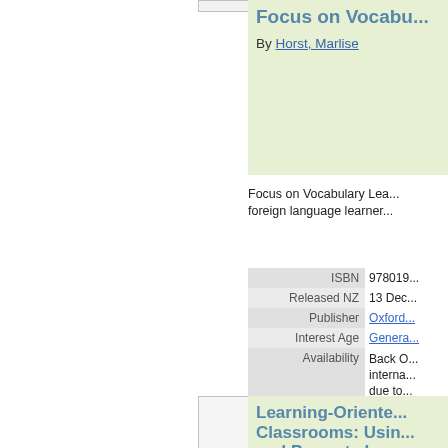[Figure (photo): Book cover image placeholder (partial, top of page)]
Focus on Vocabulary Lea...
By Horst, Marlise
Focus on Vocabulary Lea... foreign language learner...
| Field | Value |
| --- | --- |
| ISBN | 97801... |
| Released NZ | 13 Dec... |
| Publisher | Oxford... |
| Interest Age | Genera... |
| Availability | Back O... interna... due to... |
View details for this t...
[Figure (illustration): No image available placeholder for second book]
Learning-Oriented Assessments in Language Classrooms: Using... and Promote Lan...
By Purpura, James E.;...
Learning-Oriented Asses...